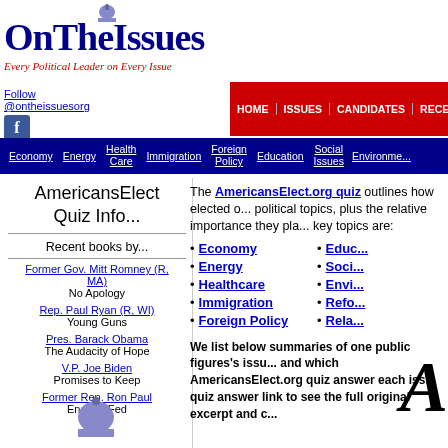[Figure (logo): OnTheIssues logo with dome icon, title and subtitle]
HOME | ISSUES | CANDIDATES | RECENT | GRID | ARCHIVE | SENATE
Follow @ontheissuesorg
Economy | Energy | Health Care | Immigration | Foreign Policy | Education | Social Issues | Environment
AmericansElect Quiz Info...
Recent books by...
Former Gov. Mitt Romney (R, MA) - No Apology
Rep. Paul Ryan (R, WI) - Young Guns
Pres. Barack Obama - The Audacity of Hope
V.P. Joe Biden - Promises to Keep
Former Rep. Ron Paul - End the Fed
The AmericansElect.org quiz outlines how elected officials stand on political topics, plus the relative importance they place on them. The key topics are:
Economy
Energy
Healthcare
Immigration
Foreign Policy
Education
Social Issues
Environment
Reform
Relations
We list below summaries of one public figures's issues and which AmericansElect.org quiz answer each issue matches. Click any quiz answer link to see the full original excerpt and context.